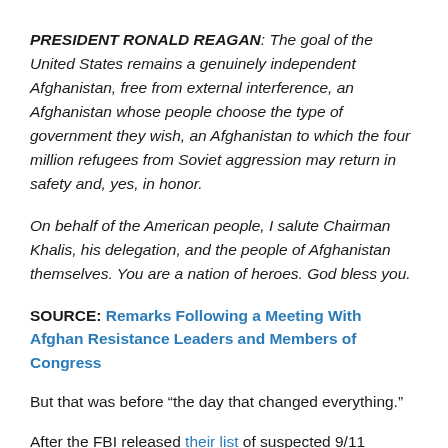PRESIDENT RONALD REAGAN: The goal of the United States remains a genuinely independent Afghanistan, free from external interference, an Afghanistan whose people choose the type of government they wish, an Afghanistan to which the four million refugees from Soviet aggression may return in safety and, yes, in honor.
On behalf of the American people, I salute Chairman Khalis, his delegation, and the people of Afghanistan themselves. You are a nation of heroes. God bless you.
SOURCE: Remarks Following a Meeting With Afghan Resistance Leaders and Members of Congress
But that was before “the day that changed everything.”
After the FBI released their list of suspected 9/11